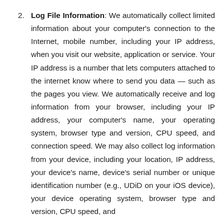Log File Information: We automatically collect limited information about your computer's connection to the Internet, mobile number, including your IP address, when you visit our website, application or service. Your IP address is a number that lets computers attached to the internet know where to send you data — such as the pages you view. We automatically receive and log information from your browser, including your IP address, your computer's name, your operating system, browser type and version, CPU speed, and connection speed. We may also collect log information from your device, including your location, IP address, your device's name, device's serial number or unique identification number (e.g., UDiD on your iOS device), your device operating system, browser type and version, CPU speed, and